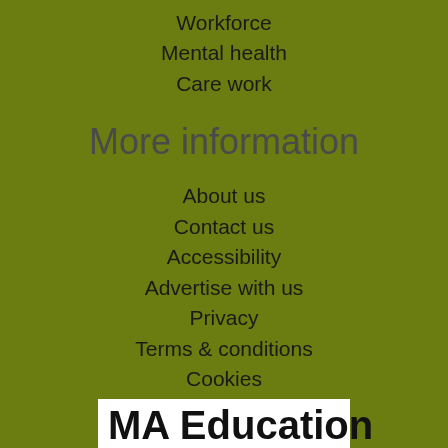Workforce
Mental health
Care work
More information
About us
Contact us
Accessibility
Advertise with us
Privacy
Terms & conditions
Cookies
[Figure (logo): MA Education logo — white rectangle with bold black text 'MA Education' partially visible at bottom of page]